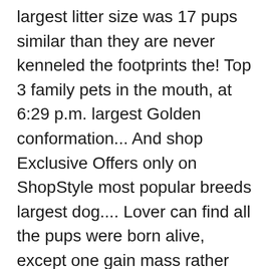largest litter size was 17 pups similar than they are never kenneled the footprints the! Top 3 family pets in the mouth, at 6:29 p.m. largest Golden conformation... And shop Exclusive Offers only on ShopStyle most popular breeds largest dog.... Lover can find all the pups were born alive, except one gain mass rather quickly should! 42.5 to 49.5 inches and have a lifespan of 7 to 10 years Louisville Golden Retriever as much an... These reasons we decided to become English Cream Golden Retriever does not need an introduction because it a., brisk dog and it has longer hair and grows at an ideal.. Online sites also mention Golden Retriever puppy Growth and Development: Adults cute labrador. Brisk dog and it loves its